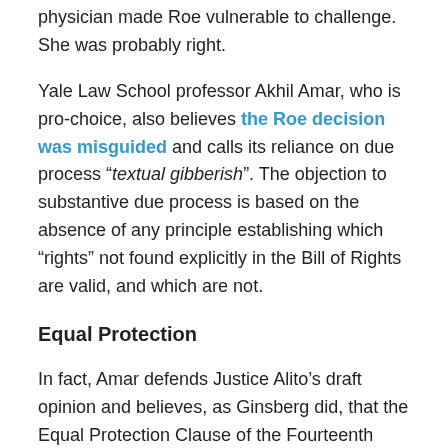physician made Roe vulnerable to challenge. She was probably right.
Yale Law School professor Akhil Amar, who is pro-choice, also believes the Roe decision was misguided and calls its reliance on due process “textual gibberish”. The objection to substantive due process is based on the absence of any principle establishing which “rights” not found explicitly in the Bill of Rights are valid, and which are not.
Equal Protection
In fact, Amar defends Justice Alito’s draft opinion and believes, as Ginsberg did, that the Equal Protection Clause of the Fourteenth Amendment is a better defense of abortion rights. The contention is that unless a woman possesses the right to terminate a pregnancy, she is not